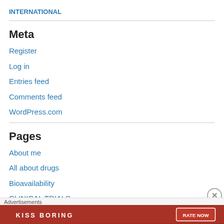INTERNATIONAL
Meta
Register
Log in
Entries feed
Comments feed
WordPress.com
Pages
About me
All about drugs
Bioavailability
CLINICAL TRIALS
Combinatorial Chemistry in Drug Design
Advertisements